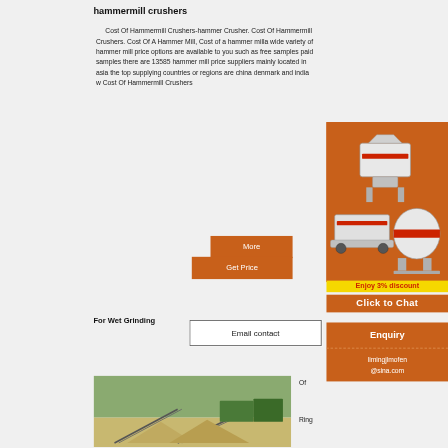hammermill crushers
Cost Of Hammermill Crushers-hammer Crusher. Cost Of Hammermill Crushers. Cost Of A Hammer Mill, Cost of a hammer milla wide variety of hammer mill price options are available to you such as free samples paid samples there are 13585 hammer mill price suppliers mainly located in asia the top supplying countries or regions are china denmark and india w Cost Of Hammermill Crushers
More
Get Price
For Wet Grinding
Email contact
[Figure (photo): Industrial mining/crushing equipment machines on orange background advertisement panel]
Enjoy 3% discount
Click to Chat
Enquiry
limingjlmofen@sina.com
Of
Ring
[Figure (photo): Outdoor photo of quarry or mining site with conveyor belts and piles of aggregate/sand material]